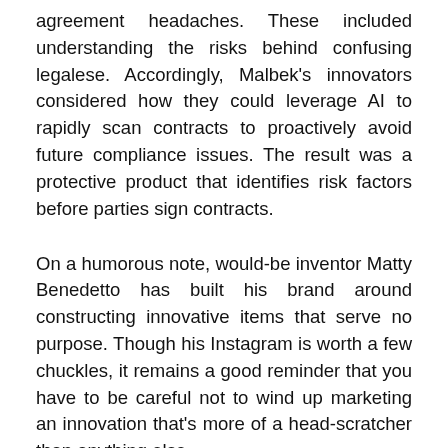agreement headaches. These included understanding the risks behind confusing legalese. Accordingly, Malbek's innovators considered how they could leverage AI to rapidly scan contracts to proactively avoid future compliance issues. The result was a protective product that identifies risk factors before parties sign contracts.
On a humorous note, would-be inventor Matty Benedetto has built his brand around constructing innovative items that serve no purpose. Though his Instagram is worth a few chuckles, it remains a good reminder that you have to be careful not to wind up marketing an innovation that's more of a head-scratcher than anything else.
3.  Be able to say goodbye to an innovation's first iteration.
It's easy to get caught up in the excitement of an